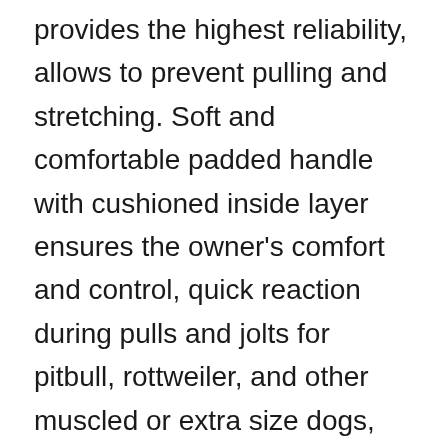provides the highest reliability, allows to prevent pulling and stretching. Soft and comfortable padded handle with cushioned inside layer ensures the owner's comfort and control, quick reaction during pulls and jolts for pitbull, rottweiler, and other muscled or extra size dogs, perfect for training.
DUPLICATED CROSS-STITCHING reinforces and powers the handle, ensuring absolute control in any forceful wear with immediate restraint. Hardy D-ring at the handle is perfect for attachments, such as